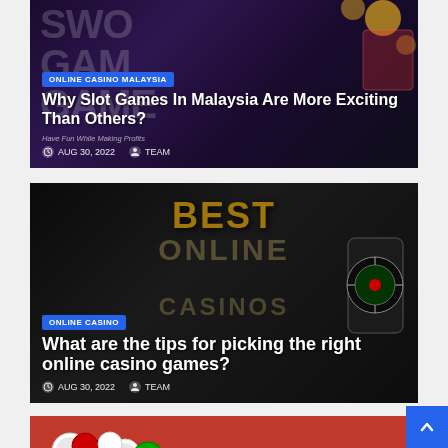[Figure (screenshot): Article card 1: Dark purple background with slot game characters and casino imagery. Badge: ONLINE CASINO MALAYSIA. Title: Why Slot Games In Malaysia Are More Exciting Than Others? Subtitle: Have Fun While Making Profits. Meta: AUG 30, 2022 | TEAM]
[Figure (screenshot): Article card 2: Dark background with BEST text in gold and online casino imagery including phone showing roulette. Badge: ONLINE CASINO. Title: What are the tips for picking the right online casino games? Meta: AUG 30, 2022 | TEAM]
[Figure (screenshot): Article card 3 (partial): Red background with casino chips visible. Partially cut off at bottom.]